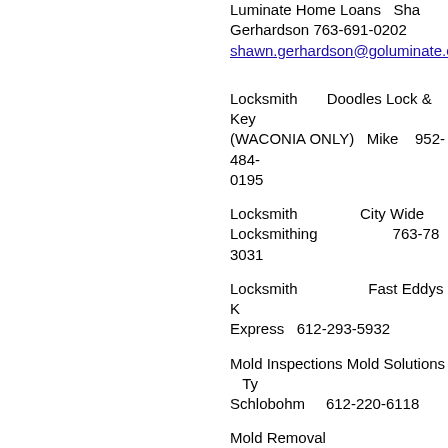Luminate Home Loans  Shawn Gerhardson 763-691-0202 shawn.gerhardson@goluminate.com
Locksmith  Doodles Lock & Key (WACONIA ONLY)  Mike  952-484-0195
Locksmith  City Wide Locksmithing  763-78 3031
Locksmith  Fast Eddys K Express  612-293-5932
Mold Inspections Mold Solutions  Ty Schlobohm  612-220-6118
Mold Removal  www.minnesotamoldservices.com  612-568-4490
Moving, Estate Sales  Bad Dog Esta & Moving Sales  Lyle  952-381-455
Moving, Estate Sales  Esquire Estate Sales  763-234-9000